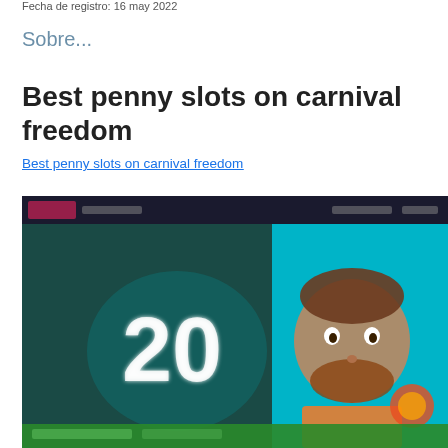Fecha de registro: 16 may 2022
Sobre...
Best penny slots on carnival freedom
Best penny slots on carnival freedom
[Figure (screenshot): Screenshot of an online casino website featuring the number '20' in large white text on a dark teal background, with a cartoon male character on the right side and a green banner at the bottom.]